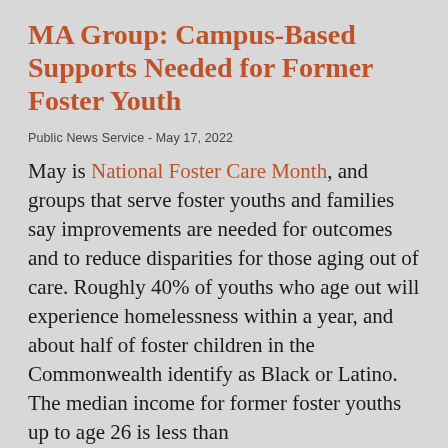MA Group: Campus-Based Supports Needed for Former Foster Youth
Public News Service - May 17, 2022
May is National Foster Care Month, and groups that serve foster youths and families say improvements are needed for outcomes and to reduce disparities for those aging out of care. Roughly 40% of youths who age out will experience homelessness within a year, and about half of foster children in the Commonwealth identify as Black or Latino. The median income for former foster youths up to age 26 is less than